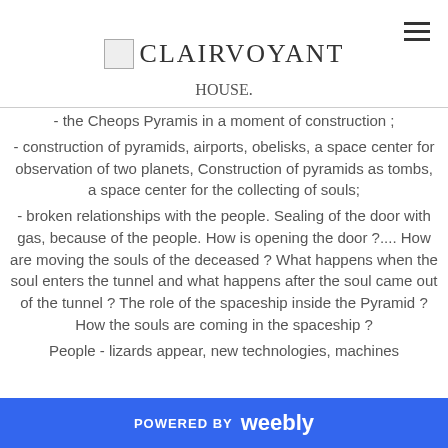CLAIRVOYANT
- the Cheops Pyramis in a moment of construction ;
- construction of pyramids, airports, obelisks, a space center for observation of two planets, Construction of pyramids as tombs, a space center for the collecting of souls;
- broken relationships with the people. Sealing of the door with gas, because of the people. How is opening the door ?.... How are moving the souls of the deceased ? What happens when the soul enters the tunnel and what happens after the soul came out of the tunnel ? The role of the spaceship inside the Pyramid ? How the souls are coming in the spaceship ?
People - lizards appear, new technologies, machines
POWERED BY weebly